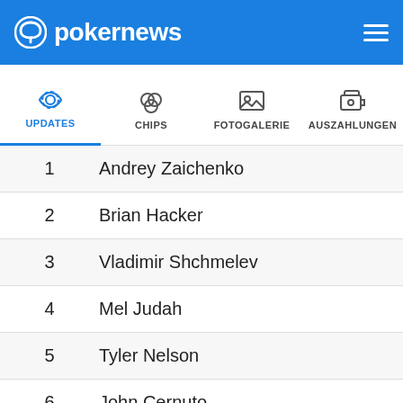pokernews
UPDATES | CHIPS | FOTOGALERIE | AUSZAHLUNGEN
| # | Name |
| --- | --- |
| 1 | Andrey Zaichenko |
| 2 | Brian Hacker |
| 3 | Vladimir Shchmelev |
| 4 | Mel Judah |
| 5 | Tyler Nelson |
| 6 | John Cernuto |
| 7 | Ashly Butler |
| 8 | Allyn Jaffrey Shulman |